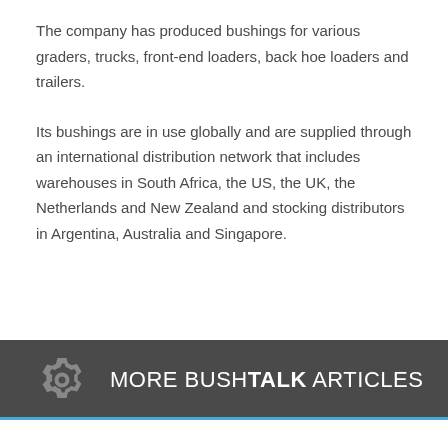The company has produced bushings for various graders, trucks, front-end loaders, back hoe loaders and trailers.
Its bushings are in use globally and are supplied through an international distribution network that includes warehouses in South Africa, the US, the UK, the Netherlands and New Zealand and stocking distributors in Argentina, Australia and Singapore.
[Figure (other): Dark grey banner with gear icon and text: MORE BUSHTALK ARTICLES]